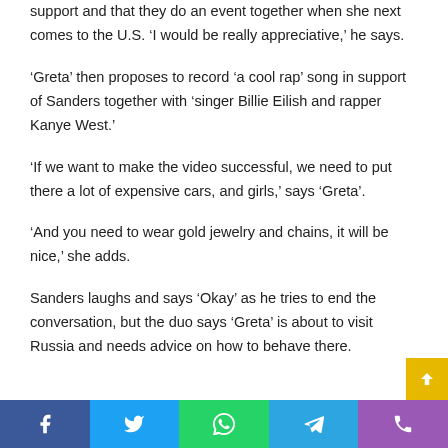support and that they do an event together when she next comes to the U.S. ‘I would be really appreciative,’ he says.
‘Greta’ then proposes to record ‘a cool rap’ song in support of Sanders together with ‘singer Billie Eilish and rapper Kanye West.’
‘If we want to make the video successful, we need to put there a lot of expensive cars, and girls,’ says ‘Greta’.
‘And you need to wear gold jewelry and chains, it will be nice,’ she adds.
Sanders laughs and says ‘Okay’ as he tries to end the conversation, but the duo says ‘Greta’ is about to visit Russia and needs advice on how to behave there.